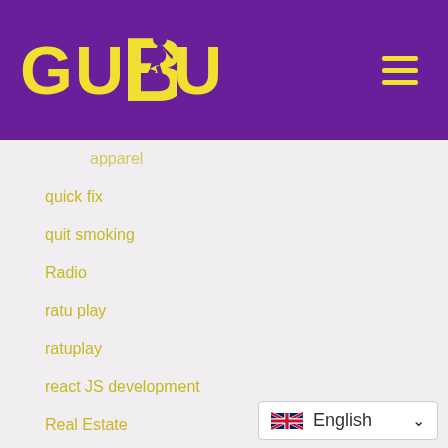[Figure (logo): GUDU logo with yellow text and running figure on purple background]
apparel
quick fix
quit smoking
Radio
ratu play
ratuplay
react JS development
Real Estate
Real estate Law
recipes
recreation
Recreation & Sports
Recreation & Sports:Biking
[Figure (screenshot): English language selector dropdown with UK flag]